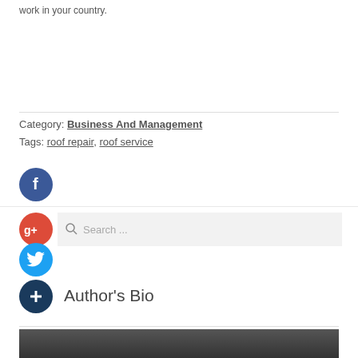work in your country.
Category: Business And Management
Tags: roof repair, roof service
[Figure (illustration): Facebook social share icon - dark blue circle with white letter f]
[Figure (illustration): Google+ social share icon - red circle with white g+ text]
[Figure (illustration): Search bar with magnifying glass icon and placeholder text 'Search ...']
[Figure (illustration): Twitter social share icon - blue circle with white bird logo]
[Figure (illustration): Add/plus social icon - dark blue circle with white plus sign]
Author's Bio